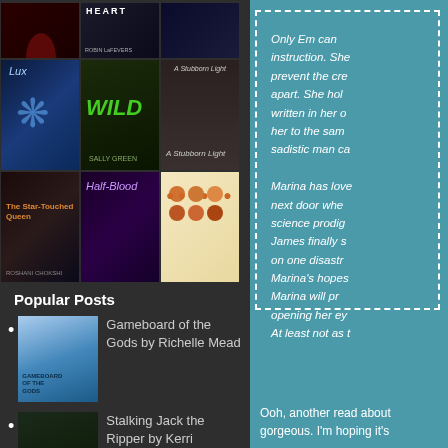[Figure (illustration): Grid of book covers including Heart by Robin LaFevers, Lux, Wild by Sally Green, A Stubborn Light, The Star-Touched Queen, Half-Blood, orange circle pattern cover, and a red cover]
Popular Posts
[Figure (photo): Thumbnail of Gameboard of the Gods book cover - blue tones with figure]
Gameboard of the Gods by Richelle Mead
[Figure (photo): Thumbnail of Stalking Jack the Ripper book cover - dark green tones]
Stalking Jack the Ripper by Kerri Maniscalco
Only Em can  instruction. She prevent the cre apart. She hol written in her o her to the sam sadistic man ca
Marina has love next door whe science prodig James finally s on one disastr Marina's hopes Marina will pr opening her ey At least not as t
Ooh, another read about gorgeous. I'm hoping it's